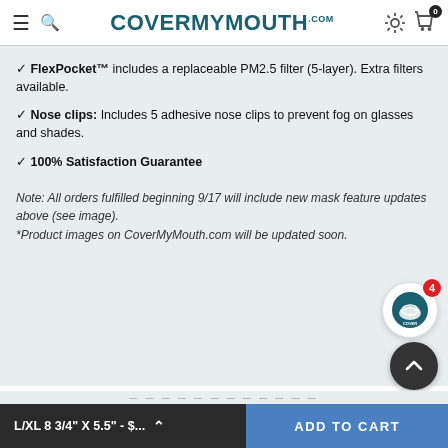CoverMyMouth.com
✓ FlexPocket™ includes a replaceable PM2.5 filter (5-layer). Extra filters available.
✓ Nose clips: Includes 5 adhesive nose clips to prevent fog on glasses and shades.
✓ 100% Satisfaction Guarantee
Note: All orders fulfilled beginning 9/17 will include new mask feature updates above (see image).
*Product images on CoverMyMouth.com will be updated soon.
[Figure (logo): CoverMyMouth.com circular logo with teal background and mask icon, with red badge showing '4']
[Figure (other): Dark circular scroll-to-top button with upward arrow]
L/XL 8 3/4" X 5.5" - $...  ADD TO CART